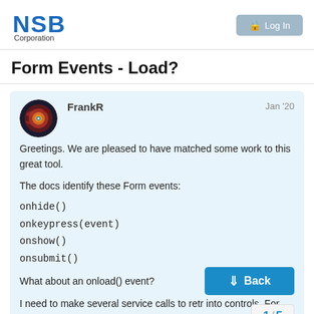NSB Corporation | Log In
Form Events - Load?
FrankR   Jan '20
Greetings. We are pleased to have matched some work to this great tool.

The docs identify these Form events:
onhide()
onkeypress(event)
onshow()
onsubmit()

What about an onload() event?

I need to make several service calls to retr into controls. For now, I will put those in or